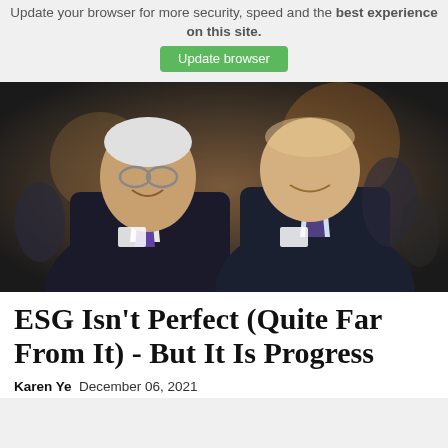Update your browser for more security, speed and the best experience on this site.
Update browser
[Figure (photo): Two men in business suits smiling at a formal event, wearing conference badges and ties, photographed indoors with other people in the background.]
ESG Isn't Perfect (Quite Far From It) - But It Is Progress
Karen Ye  December 06, 2021